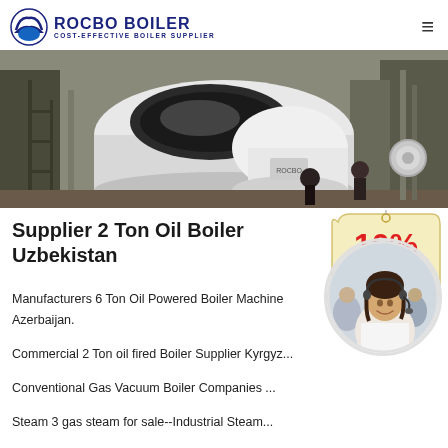ROCBO BOILER — COST-EFFECTIVE BOILER SUPPLIER
[Figure (photo): Industrial boiler being installed at a factory site, with workers and scaffolding visible, large black and white cylindrical boiler prominently displayed.]
Supplier 2 Ton Oil Boiler Uzbekistan
[Figure (infographic): 10% DISCOUNT badge in red and blue text on a cream/tan tag-shaped background.]
Manufacturers 6 Ton Oil Powered Boiler Machine Azerbaijan. Commercial 2 Ton oil fired Boiler Supplier Kyrgyz... Conventional Gas Vacuum Boiler Companies ... Steam 3 gas steam for sale--Industrial Steam...
[Figure (photo): Customer service representative woman wearing headset, smiling, in a circular cropped portrait. Background shows other call center agents.]
Get Price